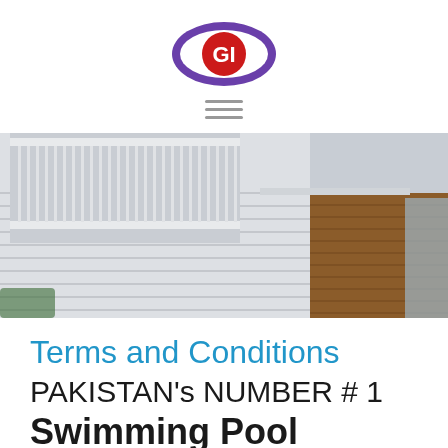[Figure (logo): Circular logo with purple oval outline and red circle center containing letters GI or CG in white]
[Figure (other): Three horizontal hamburger menu lines in gray]
[Figure (photo): Exterior photo of a building showing white railing balcony, white siding wall, and wood panel garage door area]
Terms and Conditions
PAKISTAN's NUMBER # 1
Swimming Pool